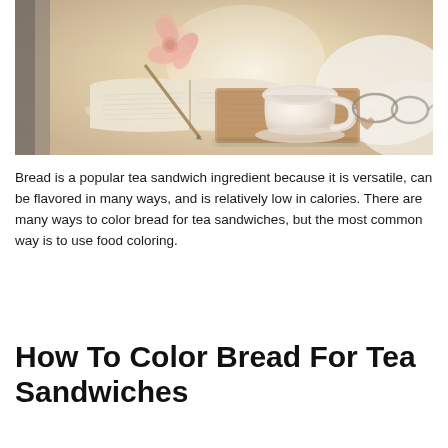[Figure (photo): A warm, soft-focus lifestyle photo showing an open book with a pink flower on top, a white porcelain teacup on a wooden board, and glasses, all resting on white fabric/bedding, with warm golden lighting.]
Bread is a popular tea sandwich ingredient because it is versatile, can be flavored in many ways, and is relatively low in calories. There are many ways to color bread for tea sandwiches, but the most common way is to use food coloring.
How To Color Bread For Tea Sandwiches